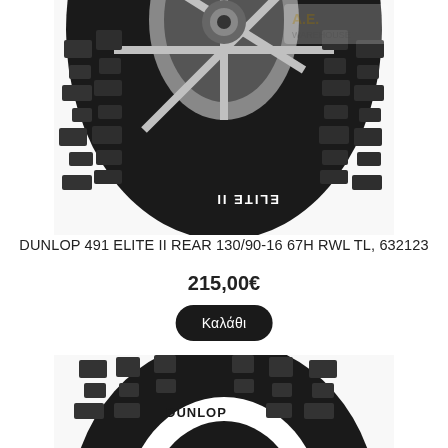[Figure (photo): Top portion of a Dunlop 491 Elite II rear motorcycle tire, showing tread pattern and 'ELITE II' text on sidewall, with watermark logo overlay]
DUNLOP 491 ELITE II REAR 130/90-16 67H RWL TL, 632123
215,00€
Καλάθι
[Figure (photo): Bottom portion of a Dunlop motorcycle tire showing tread pattern and 'DUNLOP' text on white sidewall stripe]